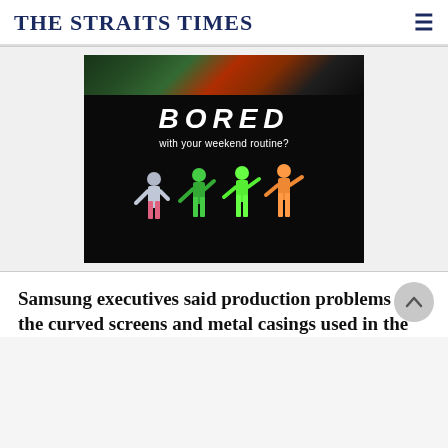THE STRAITS TIMES
[Figure (photo): Advertisement image with dark background showing text 'BORED with your weekend routine?' and dancers in colorful outfits at the bottom]
Samsung executives said production problems for the curved screens and metal casings used in the Galaxy S6 and the larger-screened S6 edge forced